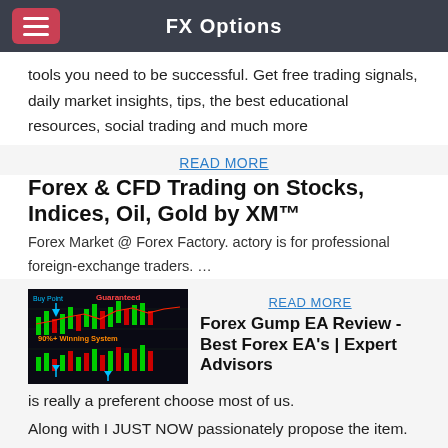FX Options
tools you need to be successful. Get free trading signals, daily market insights, tips, the best educational resources, social trading and much more
READ MORE
Forex & CFD Trading on Stocks, Indices, Oil, Gold by XM™
Forex Market @ Forex Factory. actory is for professional foreign-exchange traders. ...
[Figure (screenshot): Trading chart screenshot showing candlestick chart with Buy Point arrow, 'Guaranteed' label, '90%+ Winning System' overlay, red/green volume bars at bottom]
READ MORE
Forex Gump EA Review - Best Forex EA's | Expert Advisors
is really a preferent choose most of us.
Along with I JUST NOW passionately propose the item. With all the outside high quality touchstones, as a result recognizing this